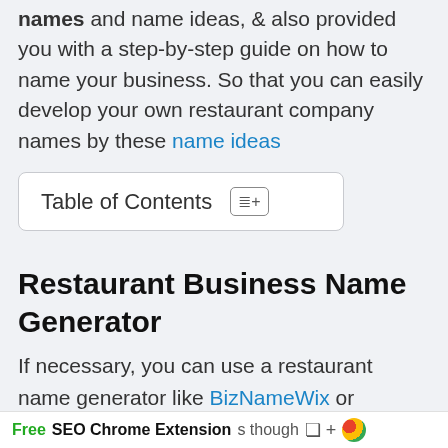names and name ideas, & also provided you with a step-by-step guide on how to name your business. So that you can easily develop your own restaurant company names by these name ideas
Table of Contents
Restaurant Business Name Generator
If necessary, you can use a restaurant name generator like BizNameWix or Shopify, these
Free SEO Chrome Extension s though...